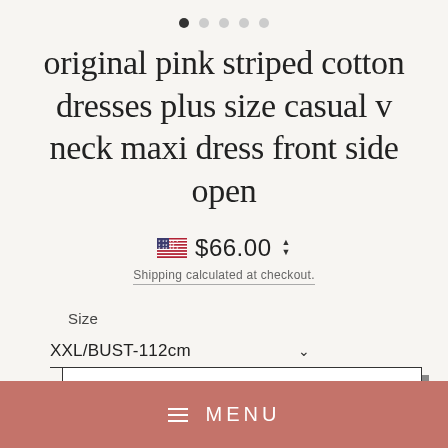[Figure (other): Carousel navigation dots, first dot filled/active, four dots unfilled]
original pink striped cotton dresses plus size casual v neck maxi dress front side open
$ 66.00
Shipping calculated at checkout.
Size
XXL/BUST-112cm
ADD TO CART
MENU